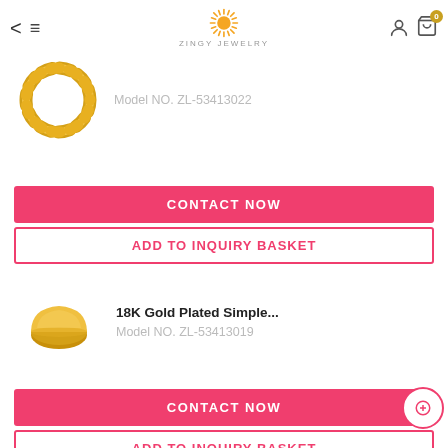Zingy Jewelry
[Figure (photo): Gold twisted chain ring product photo]
Model NO. ZL-53413022
CONTACT NOW
ADD TO INQUIRY BASKET
18K Gold Plated Simple...
Model NO. ZL-53413019
[Figure (photo): Gold dome ring product photo]
CONTACT NOW